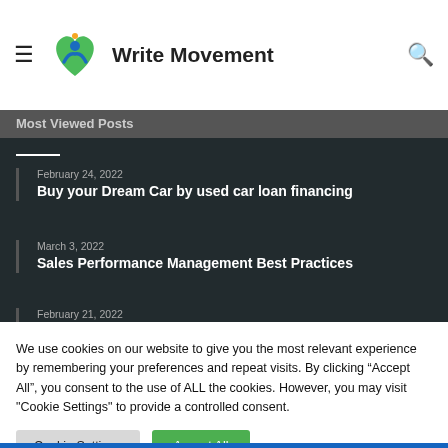Write Movement
Most Viewed Posts
February 24, 2022 — Buy your Dream Car by used car loan financing
March 3, 2022 — Sales Performance Management Best Practices
February 21, 2022 — Ice Cream Maker Free Chocolate
We use cookies on our website to give you the most relevant experience by remembering your preferences and repeat visits. By clicking “Accept All”, you consent to the use of ALL the cookies. However, you may visit "Cookie Settings" to provide a controlled consent.